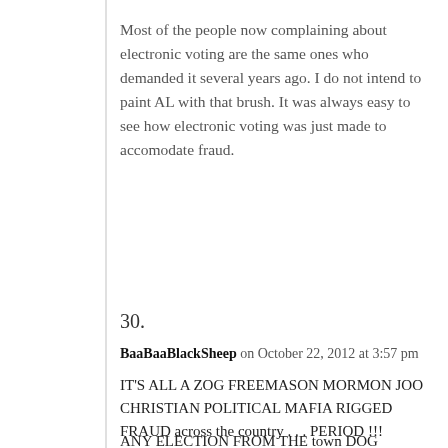Most of the people now complaining about electronic voting are the same ones who demanded it several years ago. I do not intend to paint AL with that brush. It was always easy to see how electronic voting was just made to accomodate fraud.
30.
BaaBaaBlackSheep on October 22, 2012 at 3:57 pm
IT'S ALL A ZOG FREEMASON MORMON JOO CHRISTIAN POLITICAL MAFIA RIGGED FRAUD across the country . . . PERIOD !!!
ANY ELECTION FROM THE town DOG CATCHER TO THE LOCAL TOWN SELECTMAN ABOVE to the national level IS TAMPERED WITH AND RIGGED !!!
EVEN THE ELECTION VOTING MACHINES ARE RIGGED –